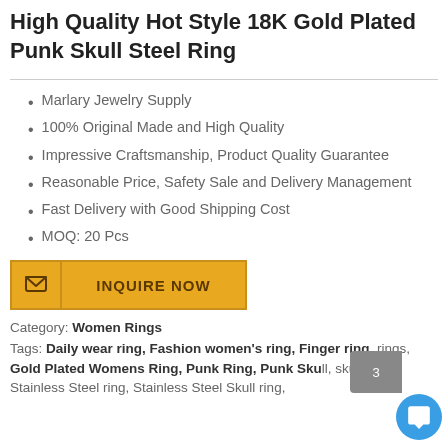High Quality Hot Style 18K Gold Plated Punk Skull Steel Ring
Marlary Jewelry Supply
100% Original Made and High Quality
Impressive Craftsmanship, Product Quality Guarantee
Reasonable Price, Safety Sale and Delivery Management
Fast Delivery with Good Shipping Cost
MOQ: 20 Pcs
INQUIRE NOW
Category: Women Rings
Tags: Daily wear ring, Fashion women's ring, Finger ring, rings, Gold Plated Womens Ring, Punk Ring, Punk Skull, skull Ring, Stainless Steel ring, Stainless Steel Skull ring,